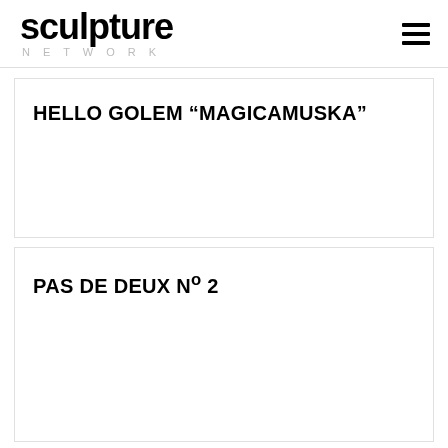sculpture NETWORK
HELLO GOLEM “MAGICAMUSKA”
PAS DE DEUX Nº 2